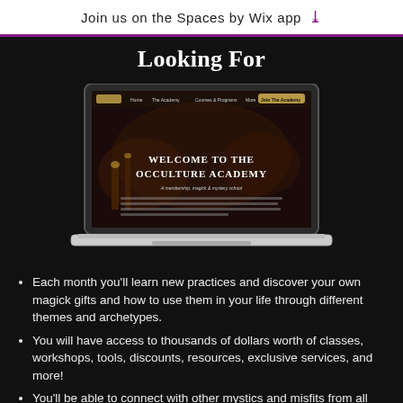Join us on the Spaces by Wix app ↓
Looking For
[Figure (screenshot): Screenshot of the Occulture Academy website displayed on a laptop, showing 'WELCOME TO THE OCCULTURE ACADEMY' heading on a dark background with mystical imagery.]
Each month you'll learn new practices and discover your own magick gifts and how to use them in your life through different themes and archetypes.
You will have access to thousands of dollars worth of classes, workshops, tools, discounts, resources, exclusive services, and more!
You'll be able to connect with other mystics and misfits from all walks of life, who all believe magick, manifestation, freedom, and international tribe building. You'll have